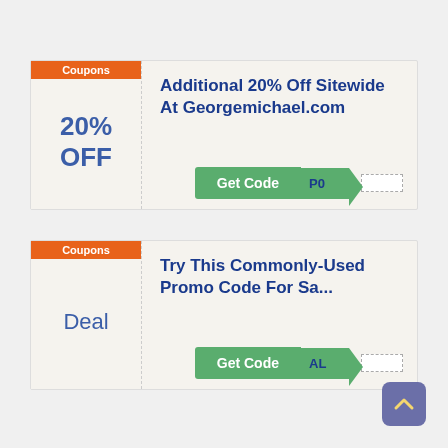Coupons
20% OFF
Additional 20% Off Sitewide At Georgemichael.com
Get Code P0
Coupons
Deal
Try This Commonly-Used Promo Code For Sa...
Get Code AL
[Figure (illustration): Back to top button — blue-purple rounded square with upward chevron arrow]